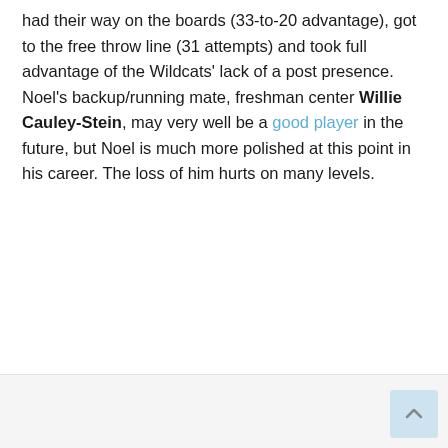had their way on the boards (33-to-20 advantage), got to the free throw line (31 attempts) and took full advantage of the Wildcats' lack of a post presence. Noel's backup/running mate, freshman center Willie Cauley-Stein, may very well be a good player in the future, but Noel is much more polished at this point in his career. The loss of him hurts on many levels.